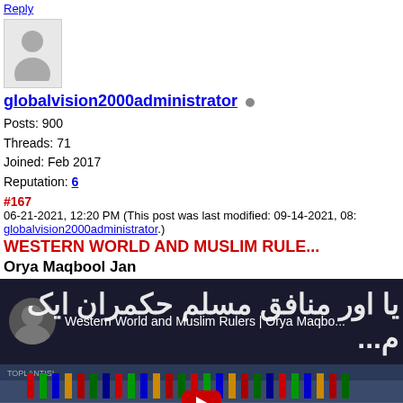Reply
[Figure (illustration): Generic user avatar silhouette image]
globalvision2000administrator [offline status dot]
Posts: 900
Threads: 71
Joined: Feb 2017
Reputation: 6
#167
06-21-2021, 12:20 PM (This post was last modified: 09-14-2021, 08:... globalvision2000administrator.)
WESTERN WORLD AND MUSLIM RULE...
Orya Maqbool Jan
[Figure (screenshot): YouTube video thumbnail showing 'Western World and Muslim Rulers | Orya Maqbo...' with Arabic text overlay and a group photo of world leaders with flags below, featuring a YouTube play button]